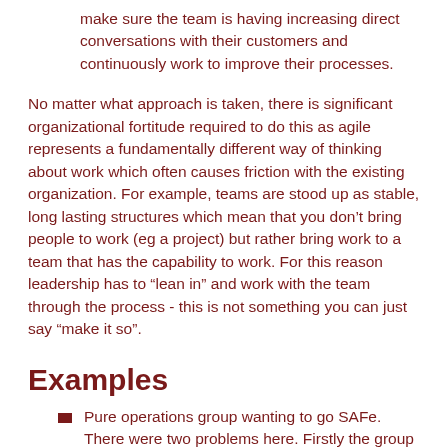make sure the team is having increasing direct conversations with their customers and continuously work to improve their processes.
No matter what approach is taken, there is significant organizational fortitude required to do this as agile represents a fundamentally different way of thinking about work which often causes friction with the existing organization. For example, teams are stood up as stable, long lasting structures which mean that you don’t bring people to work (eg a project) but rather bring work to a team that has the capability to work. For this reason leadership has to “lean in” and work with the team through the process - this is not something you can just say “make it so”.
Examples
Pure operations group wanting to go SAFe. There were two problems here. Firstly the group